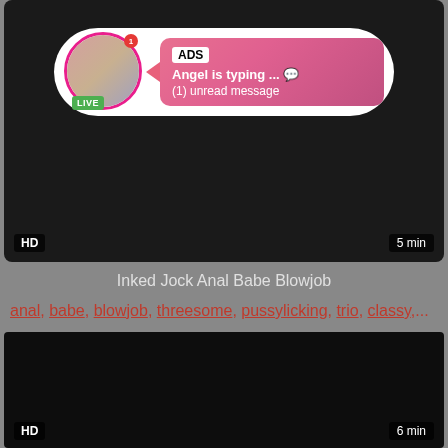[Figure (screenshot): Video thumbnail with dark background, HD badge bottom-left, 5 min badge bottom-right, and an ad overlay showing a circular avatar with LIVE badge, ADS label, 'Angel is typing ... 💬' and '(1) unread message']
Inked Jock Anal Babe Blowjob
anal, babe, blowjob, threesome, pussylicking, trio, classy,...
[Figure (screenshot): Dark video thumbnail with HD badge bottom-left and 6 min badge bottom-right]